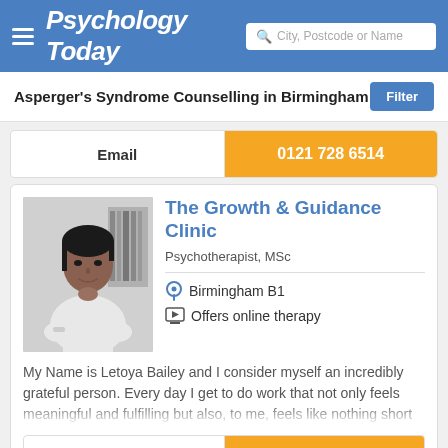Psychology Today — City, Postcode or Name search
Asperger's Syndrome Counselling in Birmingham
Email | 0121 728 6514
The Growth & Guidance Clinic
Psychotherapist, MSc
Birmingham B1
Offers online therapy
My Name is Letoya Bailey and I consider myself an incredibly grateful person. Every day I get to do work that not only feels meaningful and fulfilling but also, to me, feels like nothing short
Email | 0121 285 3639